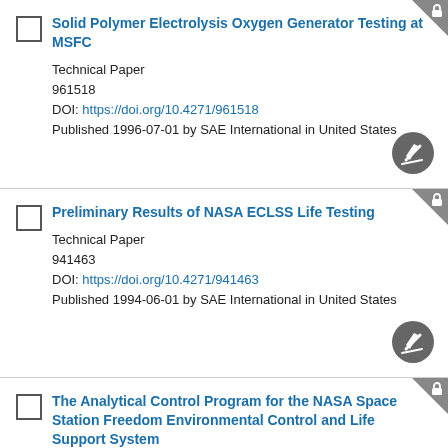Solid Polymer Electrolysis Oxygen Generator Testing at MSFC
Technical Paper
961518
DOI: https://doi.org/10.4271/961518
Published 1996-07-01 by SAE International in United States
Preliminary Results of NASA ECLSS Life Testing
Technical Paper
941463
DOI: https://doi.org/10.4271/941463
Published 1994-06-01 by SAE International in United States
The Analytical Control Program for the NASA Space Station Freedom Environmental Control and Life…